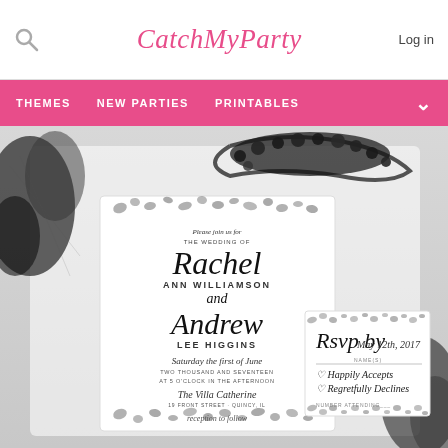CatchMyParty — Log in
THEMES   NEW PARTIES   PRINTABLES
[Figure (photo): Wedding invitation suite with leopard print watercolor border design. Main invitation reads: Please join us for THE WEDDING OF Rachel ANN WILLIAMSON and Andrew LEE HIGGINS, Saturday the first of June, TWO THOUSAND AND SEVENTEEN, AT 5 O'CLOCK IN THE AFTERNOON, The Villa Catherine, 19 FRONT STREET · QUINCY, IL, reception to follow. RSVP card reads: Rsvp by May 12th, 2017, Happily Accepts, Regretfully Declines, NUMBER ATTENDING. Surrounded by black tulle and dark bead jewelry.]